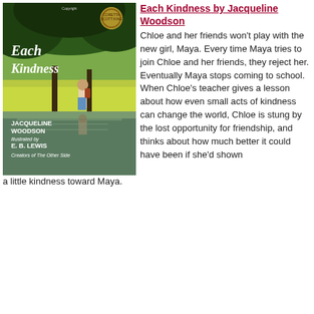[Figure (illustration): Book cover of 'Each Kindness' by Jacqueline Woodson, illustrated by E.B. Lewis. Shows two children near a reflective pond with lush green trees. Text includes 'JACQUELINE WOODSON illustrated by E. B. LEWIS Creators of The Other Side'. A Coretta Scott King award medal is shown at the top.]
Each Kindness by Jacqueline Woodson
Chloe and her friends won't play with the new girl, Maya. Every time Maya tries to join Chloe and her friends, they reject her. Eventually Maya stops coming to school. When Chloe's teacher gives a lesson about how even small acts of kindness can change the world, Chloe is stung by the lost opportunity for friendship, and thinks about how much better it could have been if she'd shown a little kindness toward Maya.